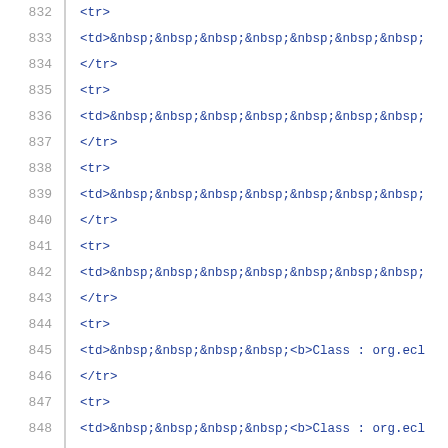832  <tr>
833  <td>&nbsp;&nbsp;&nbsp;&nbsp;&nbsp;&nbsp;&nbsp;
834  </tr>
835  <tr>
836  <td>&nbsp;&nbsp;&nbsp;&nbsp;&nbsp;&nbsp;&nbsp;
837  </tr>
838  <tr>
839  <td>&nbsp;&nbsp;&nbsp;&nbsp;&nbsp;&nbsp;&nbsp;
840  </tr>
841  <tr>
842  <td>&nbsp;&nbsp;&nbsp;&nbsp;&nbsp;&nbsp;&nbsp;
843  </tr>
844  <tr>
845  <td>&nbsp;&nbsp;&nbsp;&nbsp;<b>Class : org.ecl
846  </tr>
847  <tr>
848  <td>&nbsp;&nbsp;&nbsp;&nbsp;<b>Class : org.ecl
849  </tr>
850  <tr>
851  <td>&nbsp;&nbsp;&nbsp;&nbsp;&nbsp;&nbsp;&nbsp;
852  </tr>